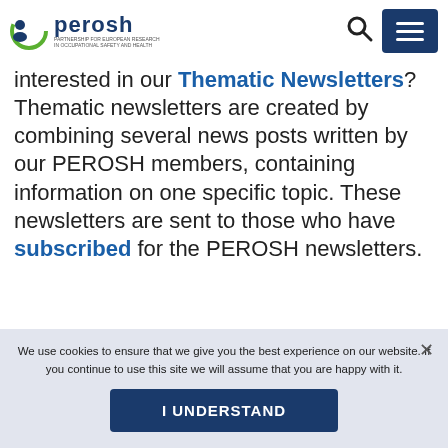PEROSH - Partnership for European Research in Occupational Safety and Health
interested in our Thematic Newsletters? Thematic newsletters are created by combining several news posts written by our PEROSH members, containing information on one specific topic. These newsletters are sent to those who have subscribed for the PEROSH newsletters.
We use cookies to ensure that we give you the best experience on our website. If you continue to use this site we will assume that you are happy with it.
I UNDERSTAND